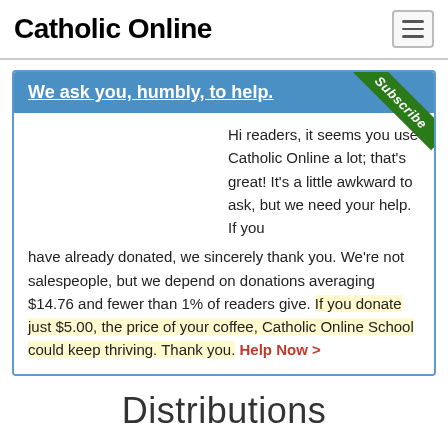Catholic Online
We ask you, humbly, to help. Hi readers, it seems you use Catholic Online a lot; that's great! It's a little awkward to ask, but we need your help. If you have already donated, we sincerely thank you. We're not salespeople, but we depend on donations averaging $14.76 and fewer than 1% of readers give. If you donate just $5.00, the price of your coffee, Catholic Online School could keep thriving. Thank you. Help Now >
Distributions